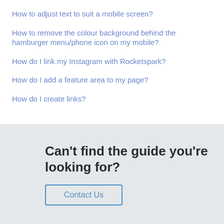How to adjust text to suit a mobile screen?
How to remove the colour background behind the hamburger menu/phone icon on my mobile?
How do I link my Instagram with Rocketspark?
How do I add a feature area to my page?
How do I create links?
Can't find the guide you're looking for?
Contact Us